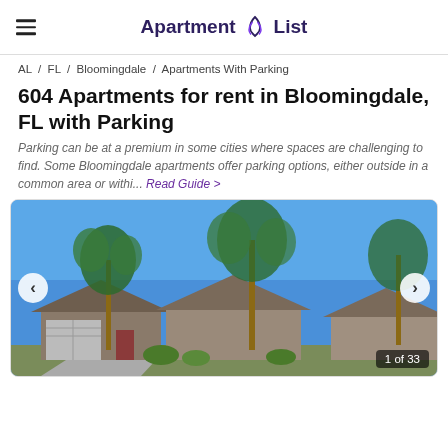Apartment List
AL / FL / Bloomingdale / Apartments With Parking
604 Apartments for rent in Bloomingdale, FL with Parking
Parking can be at a premium in some cities where spaces are challenging to find. Some Bloomingdale apartments offer parking options, either outside in a common area or withi... Read Guide >
[Figure (photo): Exterior photo of a single-family home with palm trees under a blue sky, showing 1 of 33 listing photos]